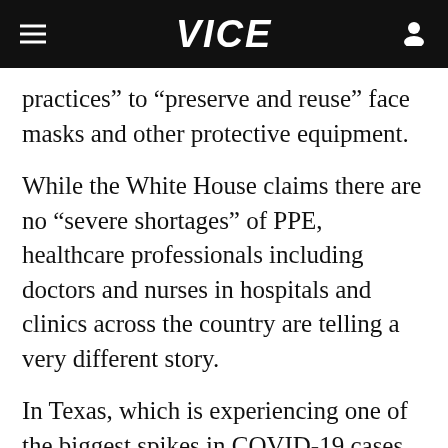VICE
practices” to “preserve and reuse” face masks and other protective equipment.
While the White House claims there are no “severe shortages” of PPE, healthcare professionals including doctors and nurses in hospitals and clinics across the country are telling a very different story.
In Texas, which is experiencing one of the biggest spikes in COVID-19 cases among the states, doctors at a hospital in Houston are being told to reuse single-use N95 respirator masks for up to 15 days before they are...